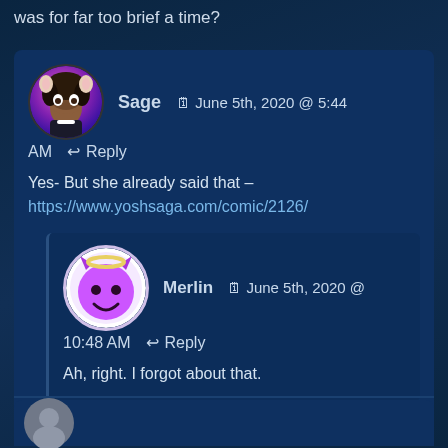was for far too brief a time?
Sage   June 5th, 2020 @ 5:44 AM   ↩ Reply
Yes- But she already said that – https://www.yoshsaga.com/comic/2126/
Merlin   June 5th, 2020 @ 10:48 AM   ↩ Reply
Ah, right. I forgot about that.